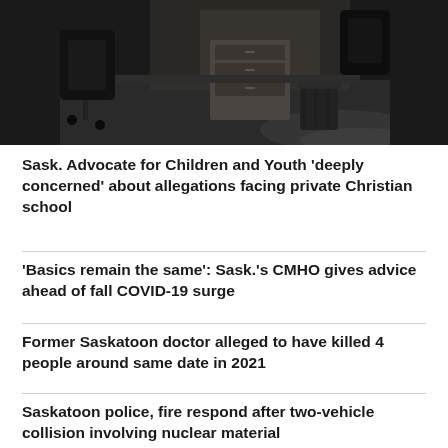[Figure (photo): Dark interior photo of an empty office desk area with chairs and a trash can, dimly lit.]
Sask. Advocate for Children and Youth 'deeply concerned' about allegations facing private Christian school
'Basics remain the same': Sask.'s CMHO gives advice ahead of fall COVID-19 surge
Former Saskatoon doctor alleged to have killed 4 people around same date in 2021
Saskatoon police, fire respond after two-vehicle collision involving nuclear material